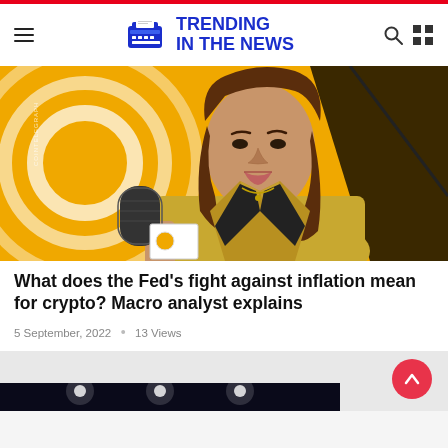TRENDING IN THE NEWS
[Figure (illustration): Illustration of a woman with long brown hair holding a microphone, wearing a yellow blazer, in front of a yellow background with circular graphic arcs. Cointelegraph watermark visible on left side.]
What does the Fed's fight against inflation mean for crypto? Macro analyst explains
5 September, 2022  •  13 Views
[Figure (photo): Dark photo strip at the bottom of the page, partially visible.]